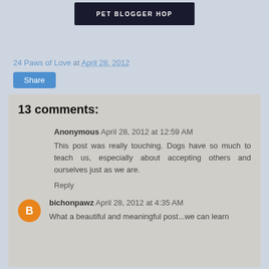[Figure (logo): Pet Blogger Hop banner logo with white text on dark background]
24 Paws of Love at April 28, 2012
Share
13 comments:
Anonymous April 28, 2012 at 12:59 AM
This post was really touching. Dogs have so much to teach us, especially about accepting others and ourselves just as we are.
Reply
bichonpawz April 28, 2012 at 4:35 AM
What a beautiful and meaningful post...we can learn